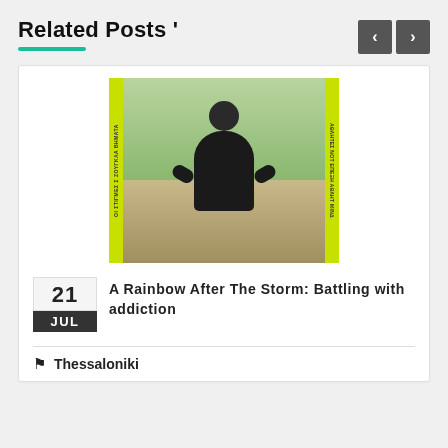Related Posts '
[Figure (photo): Person seen from behind wearing a black t-shirt, standing in outdoor green environment. Yellow-green vertical stripes on left and right edges with small vertical text.]
21
JUL
A Rainbow After The Storm: Battling with addiction
Thessaloniki